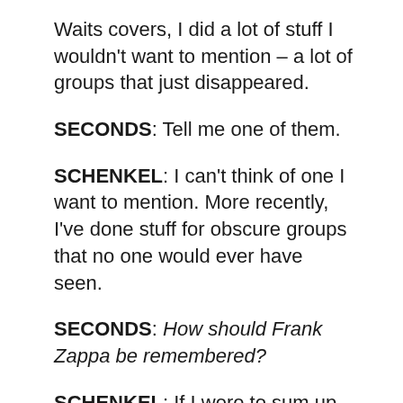Waits covers, I did a lot of stuff I wouldn't want to mention – a lot of groups that just disappeared.
SECONDS: Tell me one of them.
SCHENKEL: I can't think of one I want to mention. More recently, I've done stuff for obscure groups that no one would ever have seen.
SECONDS: How should Frank Zappa be remembered?
SCHENKEL: If I were to sum up his meaning to music and art in this century, it's as someone who opened new doors by experimenting with so many different things